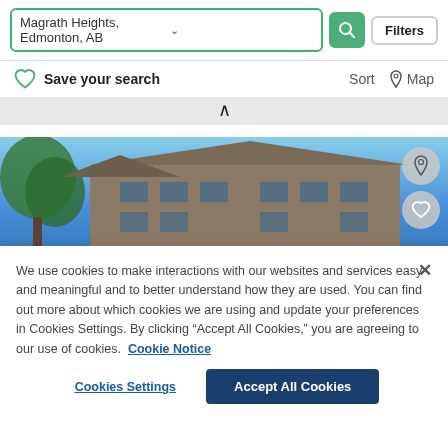Magrath Heights, Edmonton, AB
Save your search
[Figure (photo): Photo of a multi-storey residential building with brown/tan facade against a bright blue sky, with green trees visible on the left side.]
We use cookies to make interactions with our websites and services easy and meaningful and to better understand how they are used. You can find out more about which cookies we are using and update your preferences in Cookies Settings. By clicking “Accept All Cookies,” you are agreeing to our use of cookies. Cookie Notice
Cookies Settings
Accept All Cookies